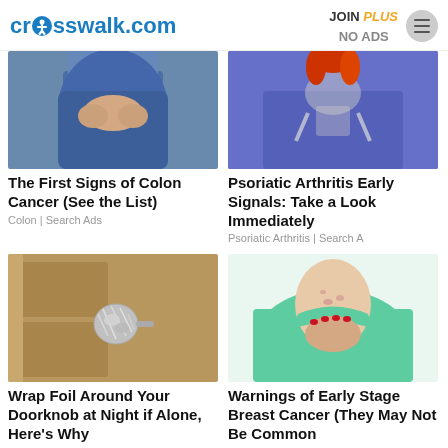crosswalk.com | JOIN PLUS NO ADS
[Figure (photo): Close-up of person in blue jeans with hands clasped at waist/stomach area]
The First Signs of Colon Cancer (See the List)
Colon | Search Ads
[Figure (photo): Person wearing purple clothing with a skeleton/anatomy overlay on hip/pelvis area]
Psoriatic Arthritis Early Signals: Take a Look Immediately
Psoriatic Arthritis | Search A
[Figure (photo): Door knob wrapped in aluminum foil on a wooden door]
Wrap Foil Around Your Doorknob at Night if Alone, Here's Why
[Figure (photo): Woman in teal shirt touching/scratching her chest/neck area with red-painted fingernails]
Warnings of Early Stage Breast Cancer (They May Not Be Common